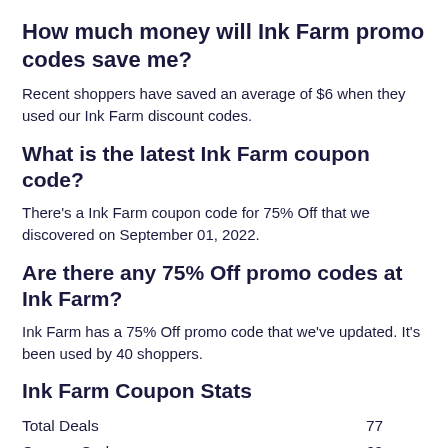How much money will Ink Farm promo codes save me?
Recent shoppers have saved an average of $6 when they used our Ink Farm discount codes.
What is the latest Ink Farm coupon code?
There's a Ink Farm coupon code for 75% Off that we discovered on September 01, 2022.
Are there any 75% Off promo codes at Ink Farm?
Ink Farm has a 75% Off promo code that we've updated. It's been used by 40 shoppers.
Ink Farm Coupon Stats
|  |  |
| --- | --- |
| Total Deals | 77 |
| Coupon Codes | 69 |